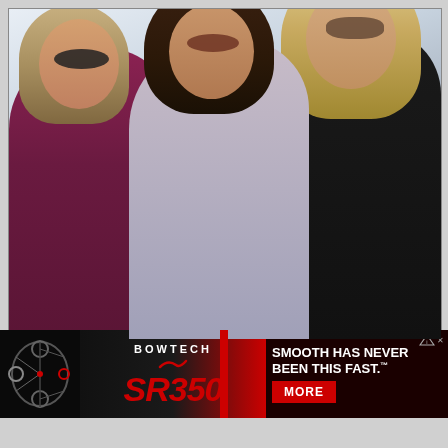[Figure (photo): Three women wearing sunglasses posing together and smiling. Left woman wears a purple/magenta top, center woman wears a light pink top, right woman wears a black top. All have blonde or brunette hair.]
[Figure (advertisement): Bowtech SR350 advertisement banner. Black background with red accent. Shows a compound bow image on the left, 'BOWTECH' text with a red checkmark logo, 'SR350' in large italic red text, and on the right: 'SMOOTH HAS NEVER BEEN THIS FAST.™' in white text with a red 'MORE' button. AdChoices icon in top right corner.]